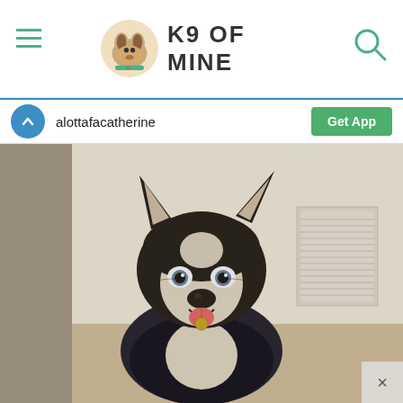K9 OF MINE
alottafacatherine
Get App
[Figure (photo): A Siberian Husky dog wearing a dark jacket/vest, sitting indoors on carpet, looking at the camera with mouth open and tongue slightly out. The dog has classic black and white Husky coloring with blue-ish eyes. Background shows white walls and a floor vent.]
×